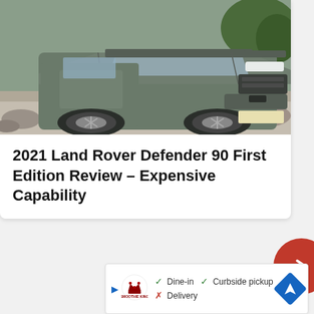[Figure (photo): Front view of a grey Land Rover Defender 90, photographed on rocky terrain outdoors.]
2021 Land Rover Defender 90 First Edition Review – Expensive Capability
[Figure (other): Partially visible red circular arrow/next button on the right edge of the page.]
[Figure (other): Advertisement banner for Smoothie King showing dine-in, curbside pickup, and delivery options with a navigation icon.]